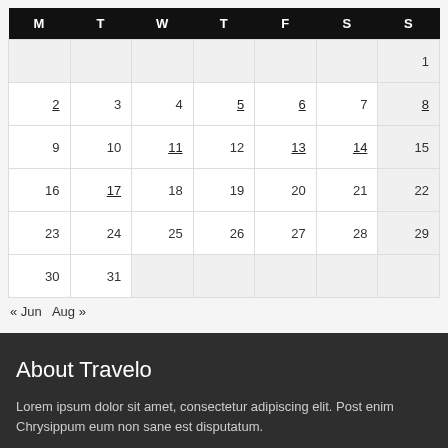| M | T | W | T | F | S | S |
| --- | --- | --- | --- | --- | --- | --- |
|  |  |  |  |  |  | 1 |
| 2 | 3 | 4 | 5 | 6 | 7 | 8 |
| 9 | 10 | 11 | 12 | 13 | 14 | 15 |
| 16 | 17 | 18 | 19 | 20 | 21 | 22 |
| 23 | 24 | 25 | 26 | 27 | 28 | 29 |
| 30 | 31 |  |  |  |  |  |
« Jun   Aug »
About Travelo
Lorem ipsum dolor sit amet, consectetur adipiscing elit. Post enim Chrysippum eum non sane est disputatum.